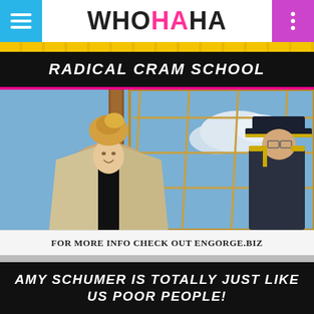WHOHAHA
RADICAL CRAM SCHOOL
[Figure (photo): Woman with blonde updo hair wearing black top and sparkly coat, smiling, standing next to a man in a captain's uniform, in front of large grid windows with a blue sky backdrop.]
FOR MORE INFO CHECK OUT ENGORGE.BIZ
AMY SCHUMER IS TOTALLY JUST LIKE US POOR PEOPLE!